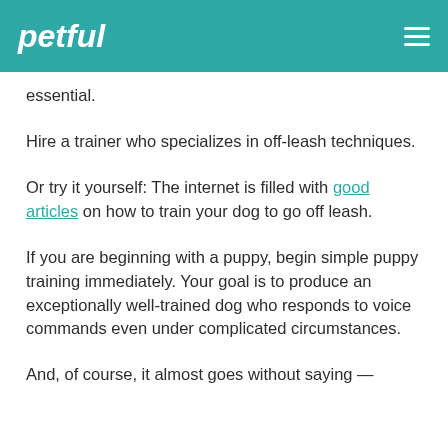petful
essential.
Hire a trainer who specializes in off-leash techniques.
Or try it yourself: The internet is filled with good articles on how to train your dog to go off leash.
If you are beginning with a puppy, begin simple puppy training immediately. Your goal is to produce an exceptionally well-trained dog who responds to voice commands even under complicated circumstances.
And, of course, it almost goes without saying —